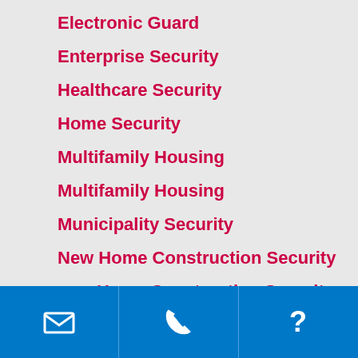Electronic Guard
Enterprise Security
Healthcare Security
Home Security
Multifamily Housing
Multifamily Housing
Municipality Security
New Home Construction Security
new Home Construction Security
PASS Security (partial)